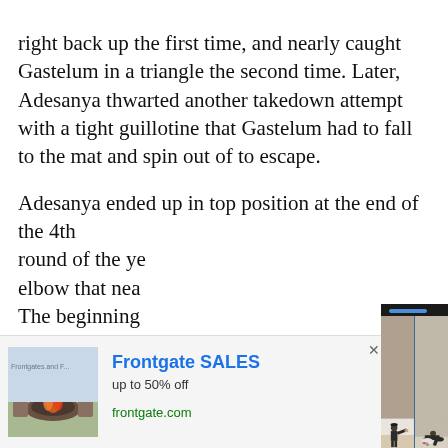right back up the first time, and nearly caught Gastelum in a triangle the second time. Later, Adesanya thwarted another takedown attempt with a tight guillotine that Gastelum had to fall to the mat and spin out of to escape.
Adesanya ended up in top position at the end of the 4th round of the ye elbow that nea The beginning a scene out of fans deafening
[Figure (photo): Video popup overlay showing two panels: left panel shows a person throwing a punch/elbow in a training or fight setting, right panel shows a grappling sequence with a person on hands and knees. A blue progress bar is visible at top, three white dots menu on right side, and a blue circular arrow button on the right. A caption bar at the bottom reads 'Facebook founder Mark']
[Figure (photo): Advertisement banner at the bottom: shows an outdoor furniture/fire pit image on the left, text 'Frontgate SALES up to 50% off frontgate.com' in the middle, and a purple/lavender circular arrow button on the right. An X close button and sponsored tag are in the top right.]